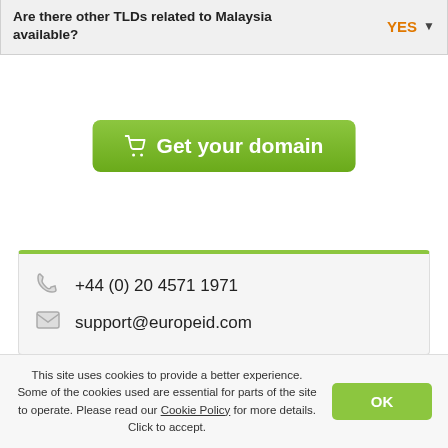Are there other TLDs related to Malaysia available?  YES ▼
Get your domain
+44 (0) 20 4571 1971
support@europeid.com
This site uses cookies to provide a better experience. Some of the cookies used are essential for parts of the site to operate. Please read our Cookie Policy for more details. Click to accept.
OK